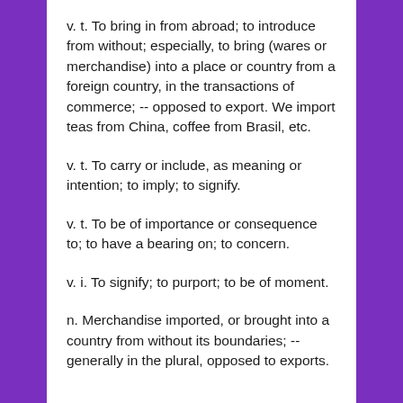v. t. To bring in from abroad; to introduce from without; especially, to bring (wares or merchandise) into a place or country from a foreign country, in the transactions of commerce; -- opposed to export. We import teas from China, coffee from Brasil, etc.
v. t. To carry or include, as meaning or intention; to imply; to signify.
v. t. To be of importance or consequence to; to have a bearing on; to concern.
v. i. To signify; to purport; to be of moment.
n. Merchandise imported, or brought into a country from without its boundaries; -- generally in the plural, opposed to exports.